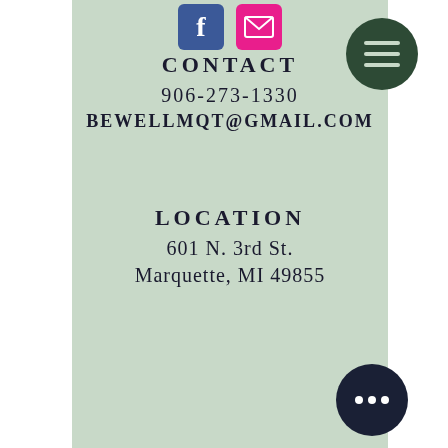[Figure (screenshot): Screenshot of a website contact page with a mint/sage green background, social media icons (Facebook and email) at the top, a hamburger menu circle, contact info section, and location section. A dark navy dots-circle button appears at bottom right.]
CONTACT
906-273-1330
BEWELLMQT@GMAIL.COM
LOCATION
601 N. 3rd St.
Marquette, MI 49855